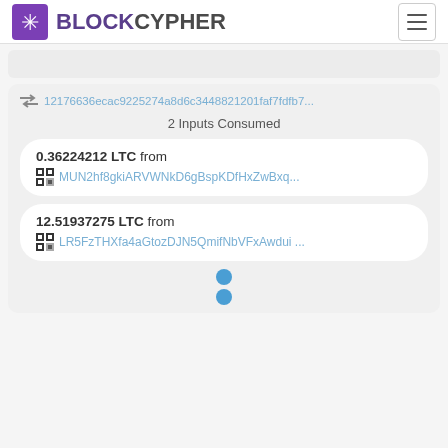BLOCKCYPHER
12176636ecac9225274a8d6c3448821201faf7fdfb7...
2 Inputs Consumed
0.36224212 LTC from MUN2hf8gkiARVWNkD6gBspKDfHxZwBxq...
12.51937275 LTC from LR5FzTHXfa4aGtozDJN5QmifNbVFxAwdui ...